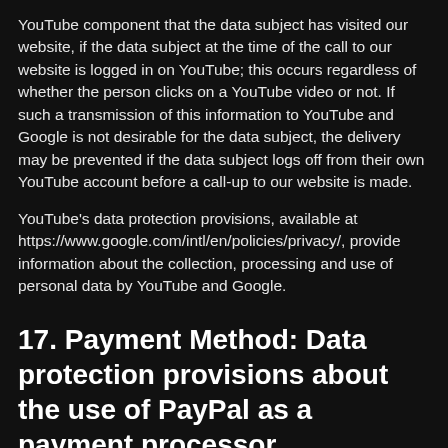YouTube component that the data subject has visited our website, if the data subject at the time of the call to our website is logged in on YouTube; this occurs regardless of whether the person clicks on a YouTube video or not. If such a transmission of this information to YouTube and Google is not desirable for the data subject, the delivery may be prevented if the data subject logs off from their own YouTube account before a call-up to our website is made.
YouTube's data protection provisions, available at https://www.google.com/intl/en/policies/privacy/, provide information about the collection, processing and use of personal data by YouTube and Google.
17. Payment Method: Data protection provisions about the use of PayPal as a payment processor
On this website, the controller has integrated